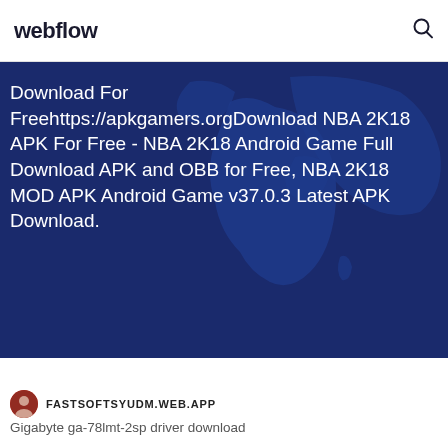webflow
Download For Freehttps://apkgamers.orgDownload NBA 2K18 APK For Free - NBA 2K18 Android Game Full Download APK and OBB for Free, NBA 2K18 MOD APK Android Game v37.0.3 Latest APK Download.
FASTSOFTSYUDM.WEB.APP
Gigabyte ga-78lmt-2sp driver download